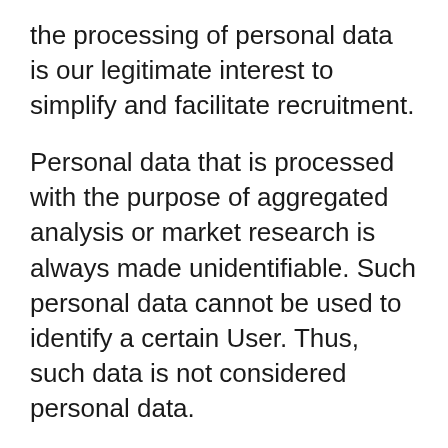the processing of personal data is our legitimate interest to simplify and facilitate recruitment.
Personal data that is processed with the purpose of aggregated analysis or market research is always made unidentifiable. Such personal data cannot be used to identify a certain User. Thus, such data is not considered personal data.
The consent of the data subject
The User consents to the processing of its personal data with the purpose of